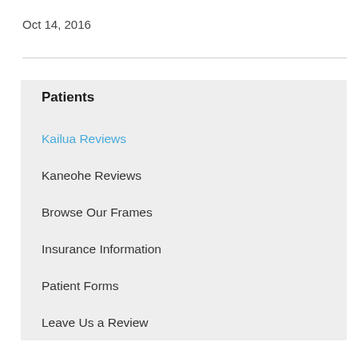Oct 14, 2016
Patients
Kailua Reviews
Kaneohe Reviews
Browse Our Frames
Insurance Information
Patient Forms
Leave Us a Review